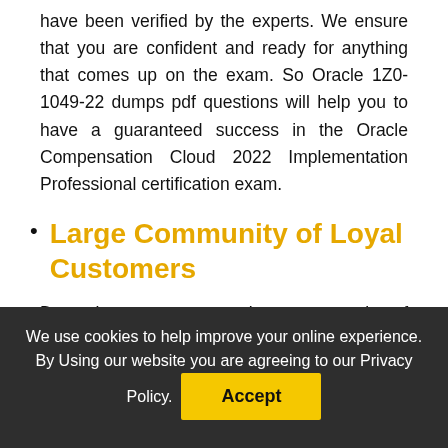have been verified by the experts. We ensure that you are confident and ready for anything that comes up on the exam. So Oracle 1Z0-1049-22 dumps pdf questions will help you to have a guaranteed success in the Oracle Compensation Cloud 2022 Implementation Professional certification exam.
Large Community of Loyal Customers
Dumpsbee possesses a large community of professionals who have experienced the high quality of our 1Z0-1049-22 practice test questions. We
We use cookies to help improve your online experience. By Using our website you are agreeing to our Privacy Policy. Accept